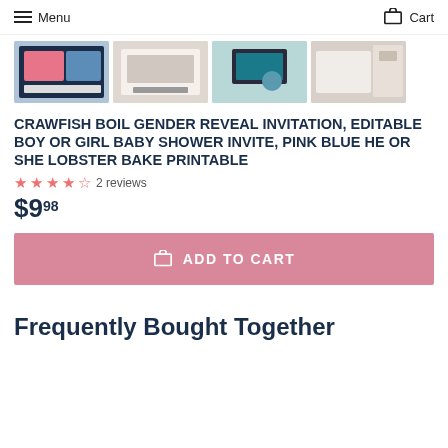Menu  Cart
[Figure (photo): Four thumbnail product images of crawfish boil gender reveal invitation designs]
CRAWFISH BOIL GENDER REVEAL INVITATION, EDITABLE BOY OR GIRL BABY SHOWER INVITE, PINK BLUE HE OR SHE LOBSTER BAKE PRINTABLE
2 reviews
$9.98
ADD TO CART
Frequently Bought Together